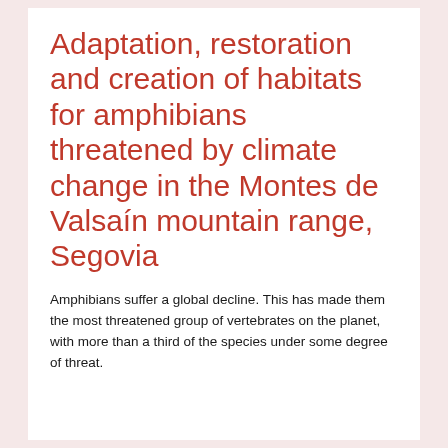Adaptation, restoration and creation of habitats for amphibians threatened by climate change in the Montes de Valsaín mountain range, Segovia
Amphibians suffer a global decline. This has made them the most threatened group of vertebrates on the planet, with more than a third of the species under some degree of threat.